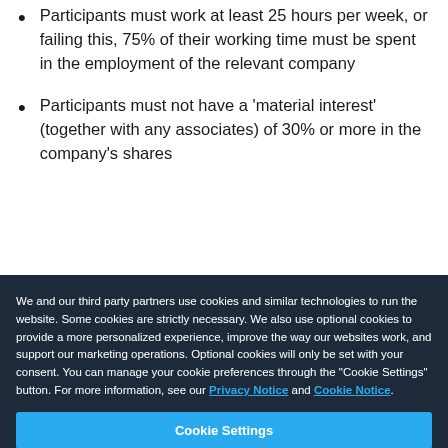Participants must work at least 25 hours per week, or failing this, 75% of their working time must be spent in the employment of the relevant company
Participants must not have a 'material interest' (together with any associates) of 30% or more in the company's shares
We and our third party partners use cookies and similar technologies to run the website. Some cookies are strictly necessary. We also use optional cookies to provide a more personalized experience, improve the way our websites work, and support our marketing operations. Optional cookies will only be set with your consent. You can manage your cookie preferences through the "Cookie Settings" button. For more information, see our Privacy Notice and Cookie Notice.
Cookie Settings
Reject All